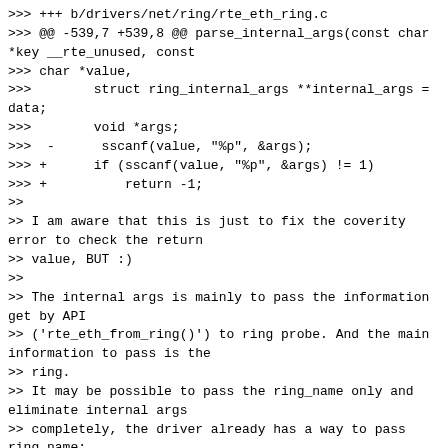>>> +++ b/drivers/net/ring/rte_eth_ring.c
>>> @@ -539,7 +539,8 @@ parse_internal_args(const char *key __rte_unused, const
>>> char *value,
>>>        struct ring_internal_args **internal_args = data;
>>>        void *args;
>>>  -      sscanf(value, "%p", &args);
>>> +      if (sscanf(value, "%p", &args) != 1)
>>> +          return -1;
>>
>> I am aware that this is just to fix the coverity error to check the return
>> value, BUT :)
>>
>> The internal args is mainly to pass the information get by API
>> ('rte_eth_from_ring()') to ring probe. And the main information to pass is the
>> ring.
>> It may be possible to pass the ring_name only and eliminate internal args
>> completely, the driver already has a way to pass ring name:
>> "nodeaction=name:node:ATTACH" devargs.
>>
>> If you have time, can you please check if it can be possible to fill and pass
>> the nodeaction devargs in 'rte_eth_from_rings()' and eliminate the 'internal'
>> devargs completely?